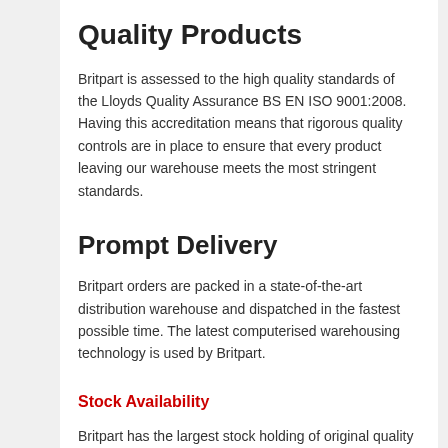Quality Products
Britpart is assessed to the high quality standards of the Lloyds Quality Assurance BS EN ISO 9001:2008. Having this accreditation means that rigorous quality controls are in place to ensure that every product leaving our warehouse meets the most stringent standards.
Prompt Delivery
Britpart orders are packed in a state-of-the-art distribution warehouse and dispatched in the fastest possible time. The latest computerised warehousing technology is used by Britpart.
Stock Availability
Britpart has the largest stock holding of original quality parts for Land Rovers in the UK. Substantial orders are able to be fulfilled quickly from stock. They supply to customers in the UK, Europe and overseas. They supply both the public and